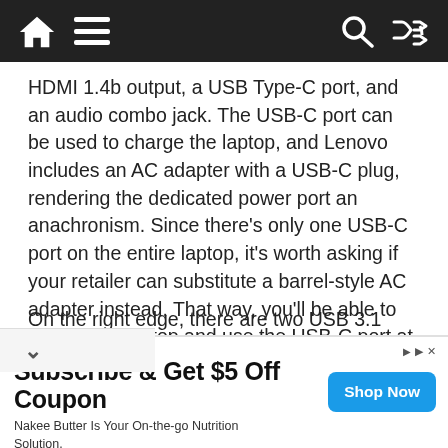Navigation bar with home, menu, search, and shuffle icons
HDMI 1.4b output, a USB Type-C port, and an audio combo jack. The USB-C port can be used to charge the laptop, and Lenovo includes an AC adapter with a USB-C plug, rendering the dedicated power port an anachronism. Since there’s only one USB-C port on the entire laptop, it’s worth asking if your retailer can substitute a barrel-style AC adapter instead. That way, you’ll be able to charge the laptop and use the USB-C port at the same time.
On the right edge, there are two USB 3.1 Gen 1 e-A ports, a rarity on ultraportable laptops
[Figure (other): Advertisement banner: Subscribe & Get $5 Off Coupon. Nakee Butter Is Your On-the-go Nutrition Solution. FOCUS + PERFORM Like a Boss Nakee Butter. Shop Now button.]